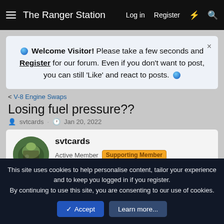The Ranger Station  Log in  Register
Welcome Visitor! Please take a few seconds and Register for our forum. Even if you don't want to post, you can still 'Like' and react to posts.
< V-8 Engine Swaps
Losing fuel pressure??
svtcards · Jan 20, 2022
svtcards
Active Member  Supporting Member  V8 Engine Swap
Jan 20, 2022  #1
This site uses cookies to help personalise content, tailor your experience and to keep you logged in if you register.
By continuing to use this site, you are consenting to our use of cookies.